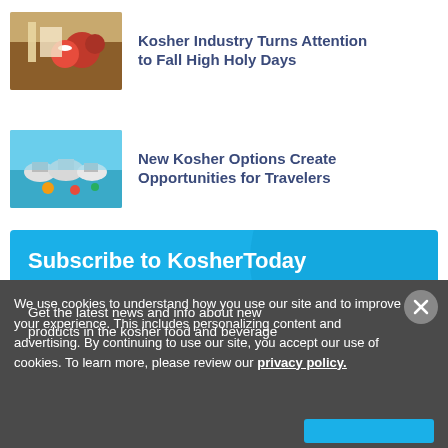[Figure (photo): Food photo with pomegranate, apple, and Jewish religious items on a wooden surface]
Kosher Industry Turns Attention to Fall High Holy Days
[Figure (photo): Travel/beach themed photo with silver domed food covers and colorful items]
New Kosher Options Create Opportunities for Travelers
Subscribe to KosherToday
Get the latest news and info about new products in the kosher food and beverage
We use cookies to understand how you use our site and to improve your experience. This includes personalizing content and advertising. By continuing to use our site, you accept our use of cookies. To learn more, please review our privacy policy.